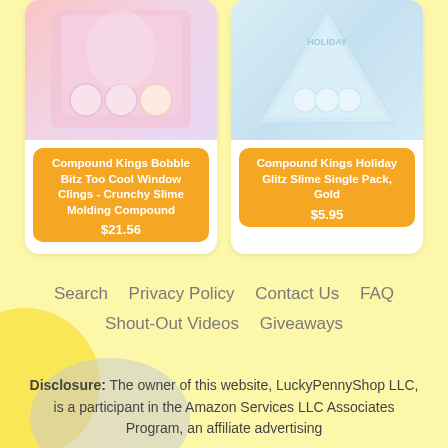[Figure (photo): Product image of Compound Kings Bobble Bitz Too Cool Window Clings - Crunchy Slime Molding Compound, pink/purple box packaging]
Compound Kings Bobble Bitz Too Cool Window Clings - Crunchy Slime Molding Compound
$21.56
[Figure (photo): Product image of Compound Kings Holiday Glitz Slime Single Pack, Gold, triangular silver/blue packaging]
Compound Kings Holiday Glitz Slime Single Pack, Gold
$5.95
Search   Privacy Policy   Contact Us   FAQ
Shout-Out Videos   Giveaways
Disclosure: The owner of this website, LuckyPennyShop LLC, is a participant in the Amazon Services LLC Associates Program, an affiliate advertising